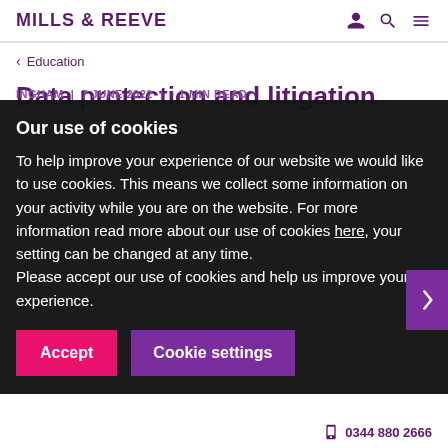MILLS & REEVE
< Education
Data protection and litigation
INGHAM | 7 JUNE 2022 | 1 MIN READ
Our use of cookies
To help improve your experience of our website we would like to use cookies. This means we collect some information on your activity while you are on the website. For more information read more about our use of cookies here, your setting can be changed at any time.
Please accept our use of cookies and help us improve your experience.
Accept   Cookie settings
0344 880 2666